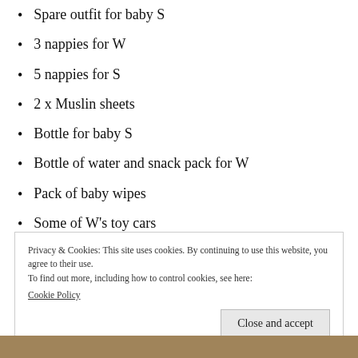Spare outfit for baby S
3 nappies for W
5 nappies for S
2 x Muslin sheets
Bottle for baby S
Bottle of water and snack pack for W
Pack of baby wipes
Some of W’s toy cars
My wallet and keys!
Privacy & Cookies: This site uses cookies. By continuing to use this website, you agree to their use.
To find out more, including how to control cookies, see here:
Cookie Policy
[Figure (photo): Partial photo of a person visible at bottom of page]